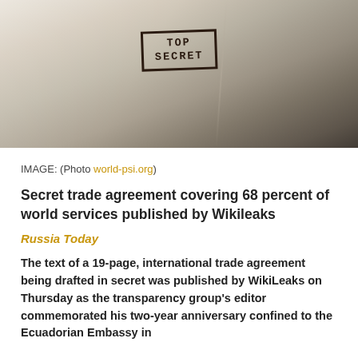[Figure (photo): A cream/white folder or document with a 'TOP SECRET' stamp in dark ink, photographed at an angle on a wooden surface. The document has a fold/crease line running diagonally.]
IMAGE: (Photo world-psi.org)
Secret trade agreement covering 68 percent of world services published by Wikileaks
Russia Today
The text of a 19-page, international trade agreement being drafted in secret was published by WikiLeaks on Thursday as the transparency group's editor commemorated his two-year anniversary confined to the Ecuadorian Embassy in